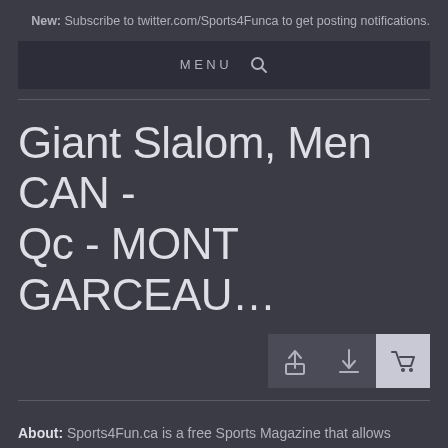New: Subscribe to twitter.com/Sports4Funca to get posting notifications.
MENU 🔍
Giant Slalom, Men CAN - Qc - MONT GARCEAU…
About: Sports4Fun.ca is a free Sports Magazine that allows download for personal use only. in March 2014, 141,246 pictures